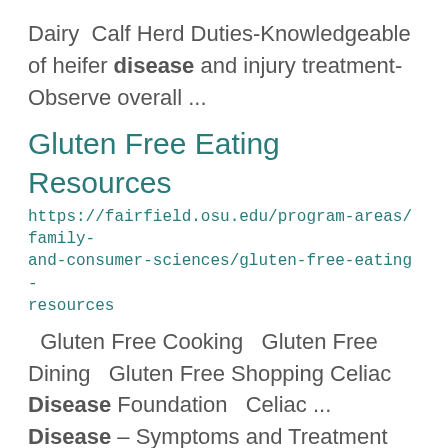Dairy Calf Herd Duties-Knowledgeable of heifer disease and injury treatment- Observe overall ...
Gluten Free Eating Resources
https://fairfield.osu.edu/program-areas/family-and-consumer-sciences/gluten-free-eating-resources
Gluten Free Cooking  Gluten Free Dining  Gluten Free Shopping Celiac Disease Foundation  Celiac ... Disease – Symptoms and Treatment  Gluten Free Diet  Gluten Free Recipes Food Allergy Research and ... Can it Be Gluten Free Cookbook  America's Test Kitchen Celiac Disease Foundation